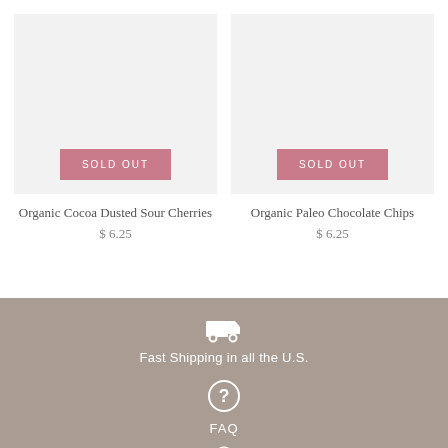[Figure (other): Product card: gray placeholder image with pink 'SOLD OUT' button overlay]
Organic Cocoa Dusted Sour Cherries
$ 6.25
[Figure (other): Product card: gray placeholder image with pink 'SOLD OUT' button overlay]
Organic Paleo Chocolate Chips
$ 6.25
[Figure (infographic): Delivery truck icon (white) on taupe/brown background]
Fast Shipping in all the U.S.
[Figure (infographic): Circle question mark icon (white outline) on taupe background]
FAQ
[Figure (infographic): Circle icon (white outline) on taupe background, partially visible at bottom]